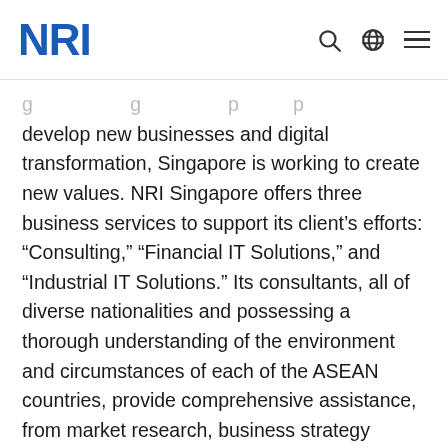NRI
develop new businesses and digital transformation, Singapore is working to create new values. NRI Singapore offers three business services to support its client's efforts: “Consulting,” “Financial IT Solutions,” and “Industrial IT Solutions.” Its consultants, all of diverse nationalities and possessing a thorough understanding of the environment and circumstances of each of the ASEAN countries, provide comprehensive assistance, from market research, business strategy formulation, partner search and negotiations, to post-investment business integration support. They also support with solving management issues like new business creation & acquisition and the